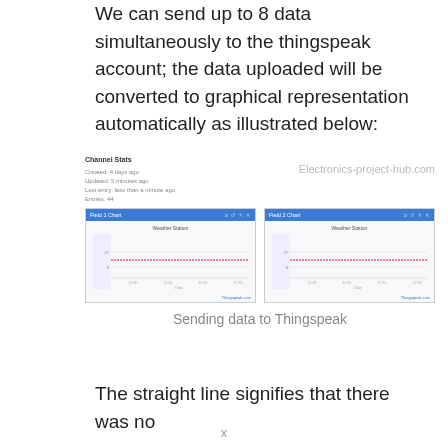We can send up to 8 data simultaneously to the thingspeak account; the data uploaded will be converted to graphical representation automatically as illustrated below:
[Figure (screenshot): Screenshot of ThingSpeak channel showing Channel Stats panel on the left with Created, Updated, Last entry, Entries info, and two line charts labeled 'Field 1 Chart' and 'Field 2 Chart' with Weather Station data showing flat horizontal red lines. Watermark 'Electronics-project-hub.com' visible.]
Sending data to Thingspeak
The straight line signifies that there was no